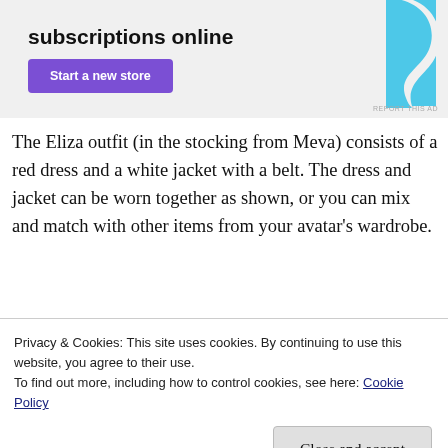[Figure (other): Advertisement banner with text 'subscriptions online', a purple 'Start a new store' button, and a cyan abstract shape on the right]
The Eliza outfit (in the stocking from Meva) consists of a red dress and a white jacket with a belt. The dress and jacket can be worn together as shown, or you can mix and match with other items from your avatar's wardrobe.
[Figure (photo): Partial photo of a room with window grid and plant visible at top, and below that another photo strip showing outdoor/avatar scene]
Privacy & Cookies: This site uses cookies. By continuing to use this website, you agree to their use.
To find out more, including how to control cookies, see here: Cookie Policy
Close and accept